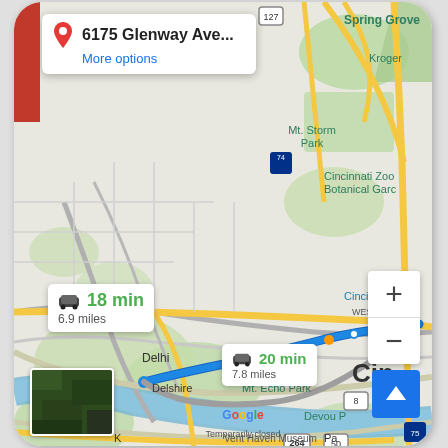[Figure (map): Google Maps screenshot showing driving directions from a starting point to 6175 Glenway Ave, Cincinnati area. Two route options displayed: 18 min / 6.9 miles (blue highlighted route) and 20 min / 7.8 miles (gray alternate route). Map shows Cincinnati Zoo, Mt. Storm Park, Spring Grove, Delhi, Delshire, Mt. Echo Park, Devou Park areas. Ohio River visible. Route 264, I-74, Route 127, Route 8, Route 50 visible. Cincinnati Art Museum area shown. WEST END label visible. Zoom controls (+/-) and up arrow button on right side. Satellite thumbnail in bottom left. Google logo and 'Temporarily closed' text at bottom.]
6175 Glenway Ave...
More options
18 min
6.9 miles
20 min
7.8 miles
Google
Temporarily closed